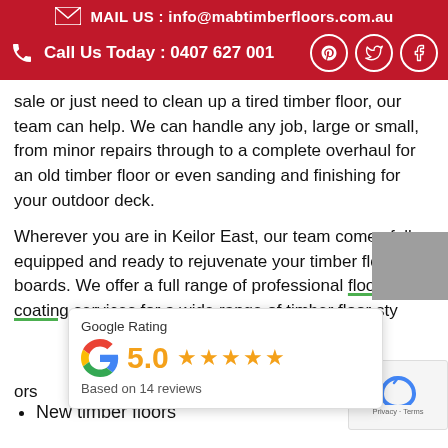MAIL US : info@mabtimberfloors.com.au
Call Us Today : 0407 627 001
sale or just need to clean up a tired timber floor, our team can help. We can handle any job, large or small, from minor repairs through to a complete overhaul for an old timber floor or even sanding and finishing for your outdoor deck.
Wherever you are in Keilor East, our team comes fully equipped and ready to rejuvenate your timber floor boards. We offer a full range of professional floor coating services for a wide range of timber floor sty
[Figure (infographic): Google Rating popup showing 5.0 stars based on 14 reviews with Google G logo]
ors
New timber floors